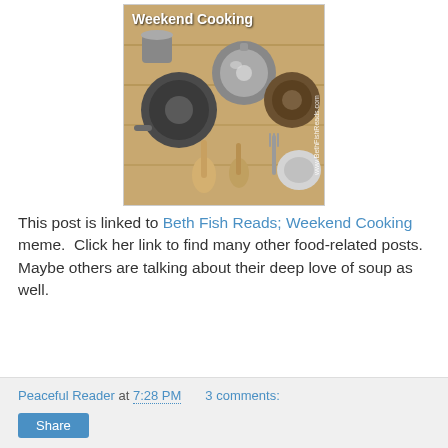[Figure (photo): Weekend Cooking banner image showing various pots, pans, and kitchen utensils arranged on a wooden surface. White bold text 'Weekend Cooking' at top left. Watermark 'www.BethFishReads.com' along right edge.]
This post is linked to Beth Fish Reads; Weekend Cooking meme.  Click her link to find many other food-related posts.  Maybe others are talking about their deep love of soup as well.
Peaceful Reader at 7:28 PM   3 comments:   Share